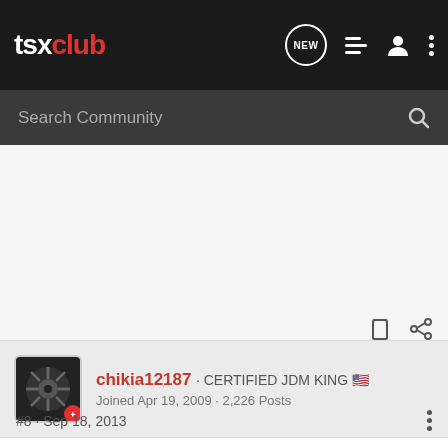tsxclub
Search Community
chikia12187 · CERTIFIED JDM KING 🇺🇸
Joined Apr 19, 2009 · 2,226 Posts
#8 · Sep 18, 2013
425 shipped